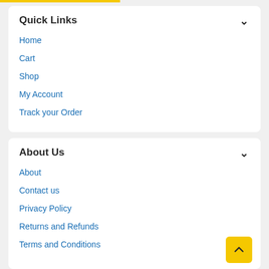Quick Links
Home
Cart
Shop
My Account
Track your Order
About Us
About
Contact us
Privacy Policy
Returns and Refunds
Terms and Conditions